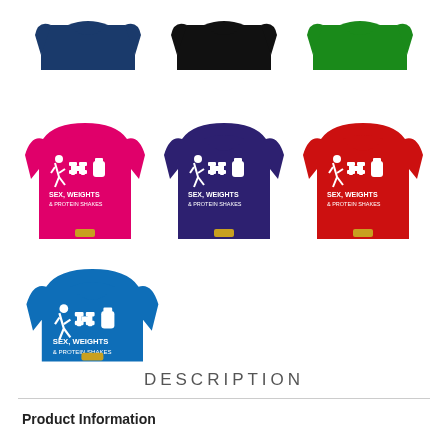[Figure (photo): Grid of 7 women's fitted t-shirts in various colors (navy, black, green, pink, purple, red, blue) all printed with 'SEX, WEIGHTS & PROTEIN SHAKES' text and icons. Arranged in three rows: top row shows 3 shirts cropped at top (navy, black, green), middle row shows 3 full shirts (pink, purple, red), bottom row shows 1 shirt (blue).]
DESCRIPTION
Product Information